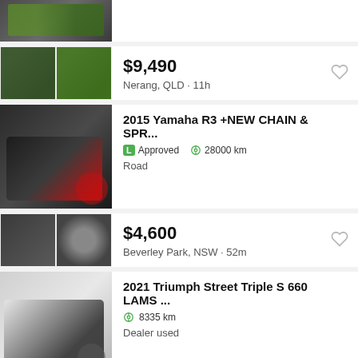[Figure (photo): Partial motorcycle listing card with two thumbnail images, green motorcycle]
$9,490
Nerang, QLD · 11h
2015 Yamaha R3 +NEW CHAIN & SPR...
Approved   28000 km   Road
$4,600
Beverley Park, NSW · 52m
2021 Triumph Street Triple S 660 LAMS ...
8335 km   Dealer used
$13,490